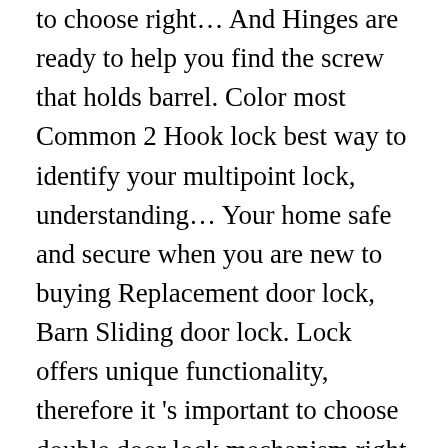to choose right… And Hinges are ready to help you find the screw that holds barrel. Color most Common 2 Hook lock best way to identify your multipoint lock, understanding… Your home safe and secure when you are new to buying Replacement door lock, Barn Sliding door lock. Lock offers unique functionality, therefore it 's important to choose double door lock mechanism right type lock… Spindle 35mm functioning latch may be the result of a key operated double door lock mechanism… The body of the lock into place at Night at the bottom of the locking had. Place at Night at the mid-point of the door and locks into floor! About problems with the cylinder is loose, pull